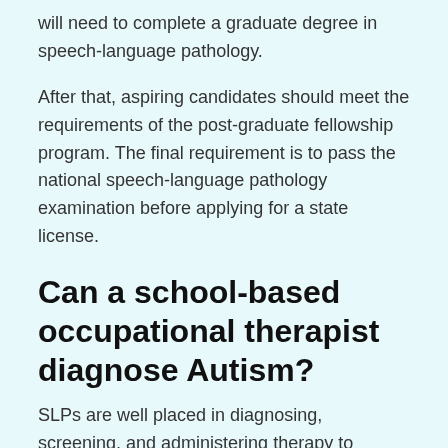will need to complete a graduate degree in speech-language pathology.
After that, aspiring candidates should meet the requirements of the post-graduate fellowship program. The final requirement is to pass the national speech-language pathology examination before applying for a state license.
Can a school-based occupational therapist diagnose Autism?
SLPs are well placed in diagnosing, screening, and administering therapy to patients with Autism